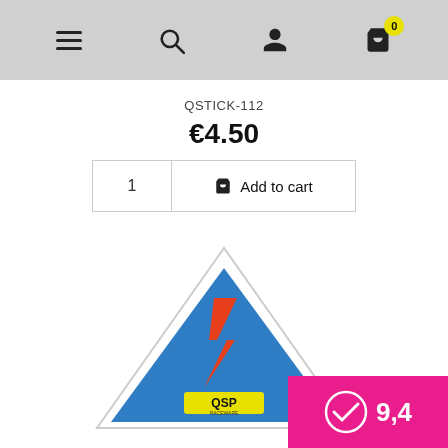Navigation bar with menu, search, account, and cart icons
QSTICK-112
€4.50
1  Add to cart
[Figure (photo): Triangular sticker with blue background featuring a red lightning bolt and QSP logo at the bottom, with a white triangle outline border]
9,4